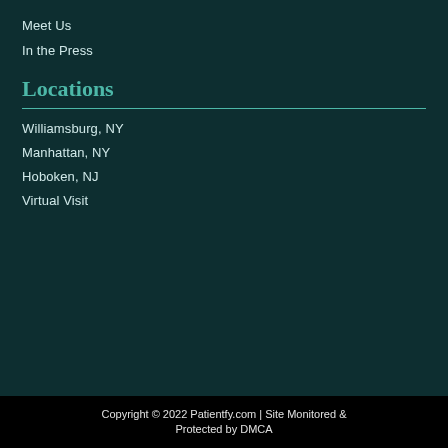Meet Us
In the Press
Locations
Williamsburg, NY
Manhattan, NY
Hoboken, NJ
Virtual Visit
Copyright © 2022 Patientfy.com | Site Monitored & Protected by DMCA